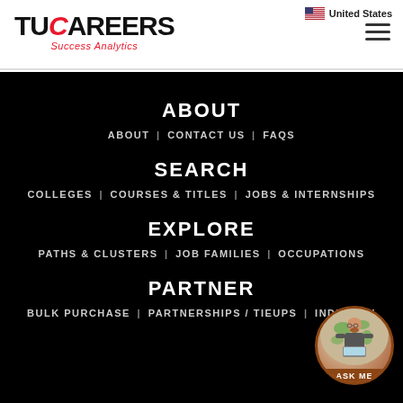United States
[Figure (logo): TUCareers Success Analytics logo]
ABOUT
ABOUT | CONTACT US | FAQs
SEARCH
COLLEGES | COURSES & TITLES | JOBS & INTERNSHIPS
EXPLORE
PATHS & CLUSTERS | JOB FAMILIES | OCCUPATIONS
PARTNER
BULK PURCHASE | PARTNERSHIPS / TIEUPS | INDUSTRY
[Figure (illustration): Ask Me chat assistant avatar bubble]